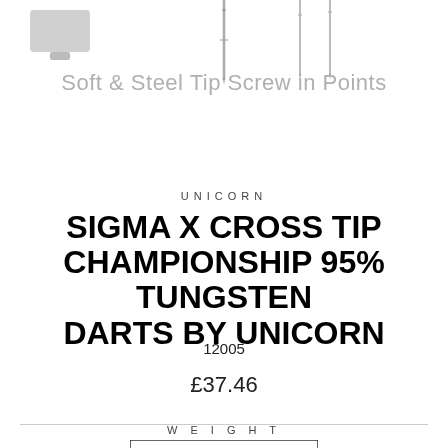[Figure (illustration): Product images: soft and steel tip screw-in dart points shown at top of page, partially cropped]
Soft & Steel Tip Screw in Points
UNICORN
SIGMA X CROSS TIP CHAMPIONSHIP 95% TUNGSTEN DARTS BY UNICORN
12005
£37.46
WEIGHT
[Figure (illustration): Weight selector box showing '21 Grams' option, partially visible at bottom]